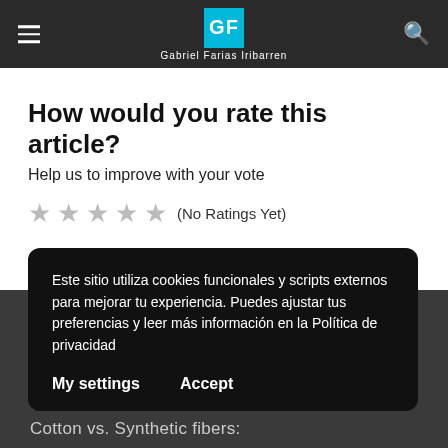GF Gabriel Farias Iribarren
How would you rate this article?
Help us to improve with your vote
★★★★★ (No Ratings Yet)
Este sitio utiliza cookies funcionales y scripts externos para mejorar tu experiencia. Puedes ajustar tus preferencias y leer más información en la Política de privacidad
My settings    Accept
Cotton vs. Synthetic fibers: